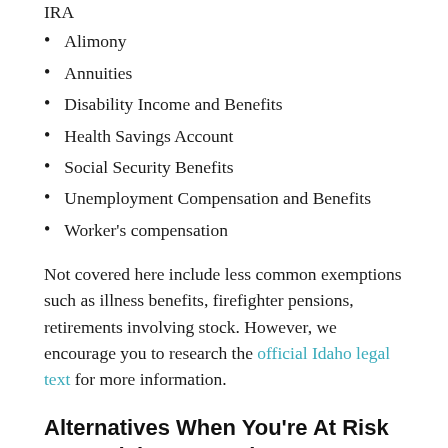IRA
Alimony
Annuities
Disability Income and Benefits
Health Savings Account
Social Security Benefits
Unemployment Compensation and Benefits
Worker's compensation
Not covered here include less common exemptions such as illness benefits, firefighter pensions, retirements involving stock. However, we encourage you to research the official Idaho legal text for more information.
Alternatives When You're At Risk From Idaho Exemptions
You may have too much equity in a belonging, which may mean side alternation. For...